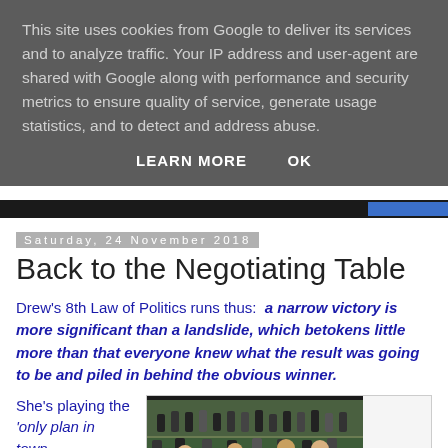This site uses cookies from Google to deliver its services and to analyze traffic. Your IP address and user-agent are shared with Google along with performance and security metrics to ensure quality of service, generate usage statistics, and to detect and address abuse.
LEARN MORE    OK
Saturday, 24 November 2018
Back to the Negotiating Table
Drew's 8th Law of Politics runs thus:  a narrow victory is more significant than a landslide, which betokens little more than that everyone knew what the result was going to be and piled in behind the obvious winner.
She's playing the 'only plan in town'...
[Figure (photo): Photo of UK Parliament chamber with MPs seated and standing]